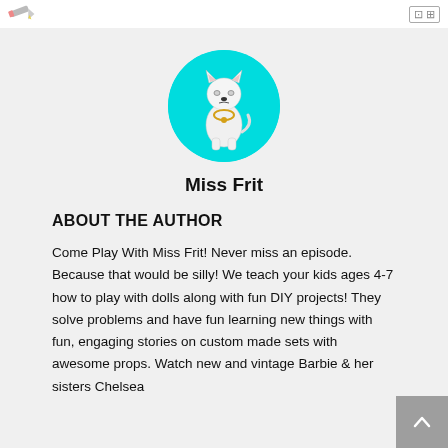[Figure (logo): Pencil/pen icon in top left header area]
[Figure (illustration): Circular avatar with cyan/turquoise background showing a cartoon white cat/dog character wearing a necklace, identified as Miss Frit]
Miss Frit
ABOUT THE AUTHOR
Come Play With Miss Frit! Never miss an episode. Because that would be silly! We teach your kids ages 4-7 how to play with dolls along with fun DIY projects! They solve problems and have fun learning new things with fun, engaging stories on custom made sets with awesome props. Watch new and vintage Barbie & her sisters Chelsea